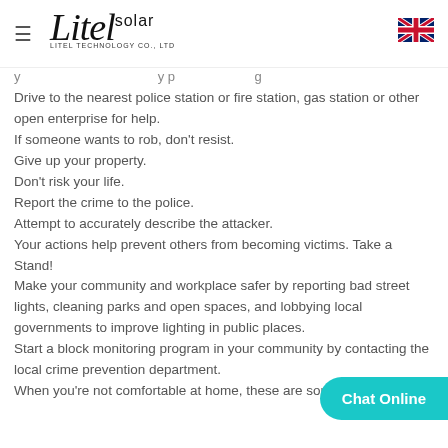Litel solar LITEL TECHNOLOGY CO., LTD
Drive to the nearest police station or fire station, gas station or other open enterprise for help.
If someone wants to rob, don't resist.
Give up your property.
Don't risk your life.
Report the crime to the police.
Attempt to accurately describe the attacker.
Your actions help prevent others from becoming victims. Take a Stand!
Make your community and workplace safer by reporting bad street lights, cleaning parks and open spaces, and lobbying local governments to improve lighting in public places.
Start a block monitoring program in your community by contacting the local crime prevention department.
When you're not comfortable at home, these are some suggestions